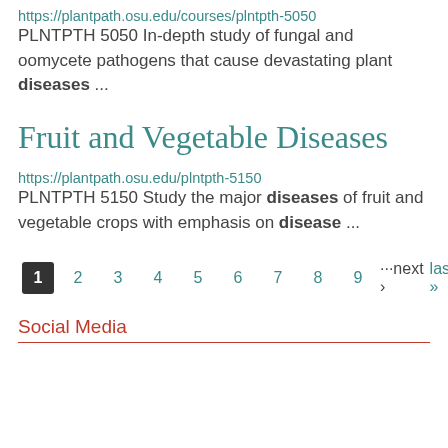https://plantpath.osu.edu/courses/plntpth-5050
PLNTPTH 5050 In-depth study of fungal and oomycete pathogens that cause devastating plant diseases ...
Fruit and Vegetable Diseases
https://plantpath.osu.edu/plntpth-5150
PLNTPTH 5150 Study the major diseases of fruit and vegetable crops with emphasis on disease ...
1 2 3 4 5 6 7 8 9 ···next › last »
Social Media